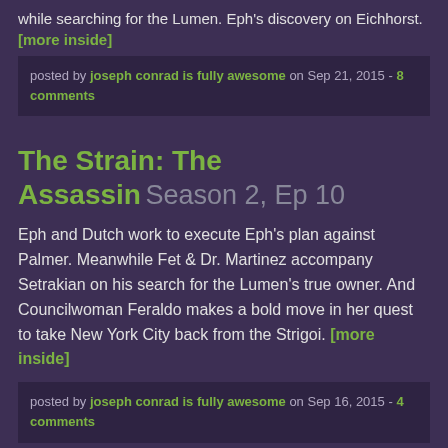while searching for the Lumen. Eph's discovery on Eichhorst. [more inside]
posted by joseph conrad is fully awesome on Sep 21, 2015 - 8 comments
The Strain: The Assassin Season 2, Ep 10
Eph and Dutch work to execute Eph's plan against Palmer. Meanwhile Fet & Dr. Martinez accompany Setrakian on his search for the Lumen's true owner. And Councilwoman Feraldo makes a bold move in her quest to take New York City back from the Strigoi. [more inside]
posted by joseph conrad is fully awesome on Sep 16, 2015 - 4 comments
The Strain: The Battle for Red Hook Season 2, Ep 9